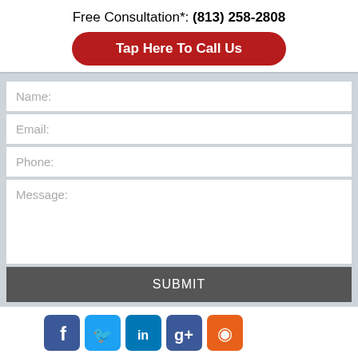Free Consultation*: (813) 258-2808
Tap Here To Call Us
[Figure (screenshot): Contact form with fields for Name, Email, Phone, Message, and a Submit button on a light gray background]
[Figure (infographic): Social media icons row: Facebook, Twitter, LinkedIn, Google+, RSS]